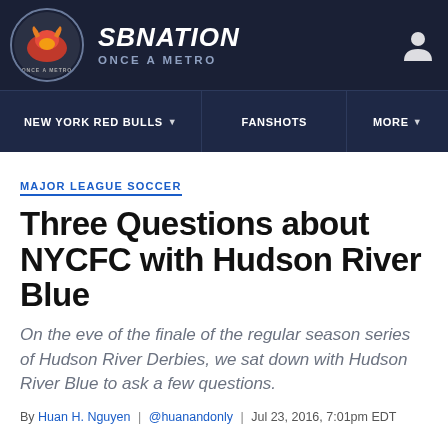SB NATION — ONCE A METRO
NEW YORK RED BULLS | FANSHOTS | MORE
MAJOR LEAGUE SOCCER
Three Questions about NYCFC with Hudson River Blue
On the eve of the finale of the regular season series of Hudson River Derbies, we sat down with Hudson River Blue to ask a few questions.
By Huan H. Nguyen | @huanandonly | Jul 23, 2016, 7:01pm EDT